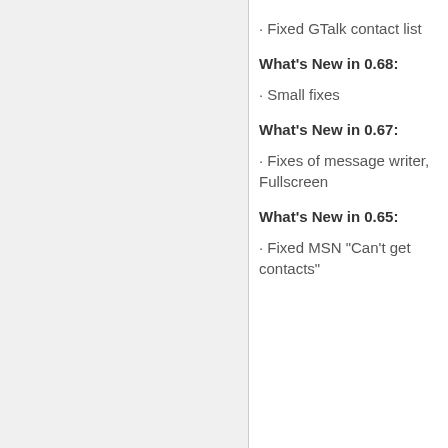· Fixed GTalk contact list
What's New in 0.68:
· Small fixes
What's New in 0.67:
· Fixes of message writer, Fullscreen
What's New in 0.65:
· Fixed MSN "Can't get contacts"